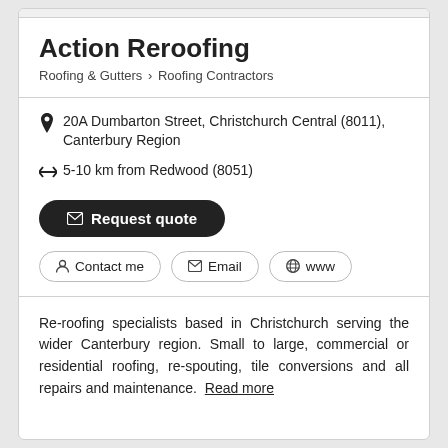Action Reroofing
Roofing & Gutters > Roofing Contractors
20A Dumbarton Street, Christchurch Central (8011), Canterbury Region
5-10 km from Redwood (8051)
Request quote
Contact me  Email  www
Re-roofing specialists based in Christchurch serving the wider Canterbury region. Small to large, commercial or residential roofing, re-spouting, tile conversions and all repairs and maintenance. Read more